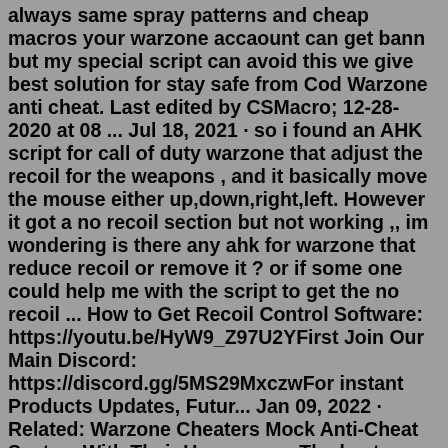always same spray patterns and cheap macros your warzone accaount can get bann but my special script can avoid this we give best solution for stay safe from Cod Warzone anti cheat. Last edited by CSMacro; 12-28-2020 at 08 ... Jul 18, 2021 · so i found an AHK script for call of duty warzone that adjust the recoil for the weapons , and it basically move the mouse either up,down,right,left. However it got a no recoil section but not working ,, im wondering is there any ahk for warzone that reduce recoil or remove it ? or if some one could help me with the script to get the no recoil ... How to Get Recoil Control Software: https://youtu.be/HyW9_Z97U2YFirst Join Our Main Discord: https://discord.gg/5MS29MxczwFor instant Products Updates, Futur... Jan 09, 2022 · Related: Warzone Cheaters Mock Anti-Cheat System With Their Usernames. The best no recoil loadout for Warzone Pacific Caldera contains the most efficient attachments to improve the accuracy, recoil, and damage of the MG42, making it one of the best weapons in the game. Some of the attachments can be